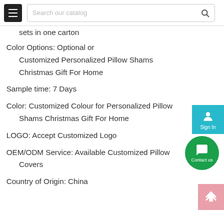Search our catalog
sets in one carton
Color Options: Optional or
    Customized Personalized Pillow Shams
    Christmas Gift For Home
Sample time: 7 Days
Color: Customized Colour for Personalized Pillow
    Shams Christmas Gift For Home
LOGO: Accept Customized Logo
OEM/ODM Service: Available Customized Pillow
    Covers
Country of Origin: China